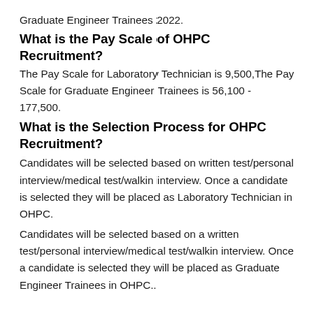Graduate Engineer Trainees 2022.
What is the Pay Scale of OHPC Recruitment?
The Pay Scale for Laboratory Technician is 9,500,The Pay Scale for Graduate Engineer Trainees is 56,100 - 177,500.
What is the Selection Process for OHPC Recruitment?
Candidates will be selected based on written test/personal interview/medical test/walkin interview. Once a candidate is selected they will be placed as Laboratory Technician in OHPC.
Candidates will be selected based on a written test/personal interview/medical test/walkin interview. Once a candidate is selected they will be placed as Graduate Engineer Trainees in OHPC..